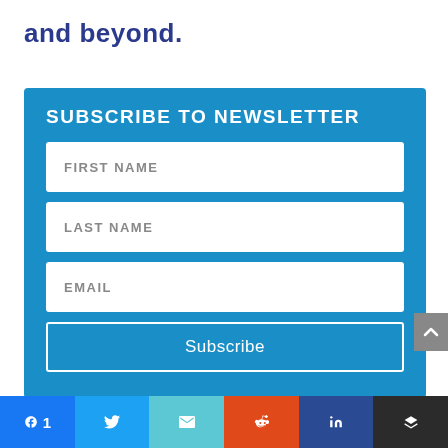and beyond.
SUBSCRIBE TO NEWSLETTER
FIRST NAME
LAST NAME
EMAIL
Subscribe
[Figure (infographic): Social sharing bar with Facebook (1), Twitter, Email, Reddit, LinkedIn, and Buffer/layers icon buttons]